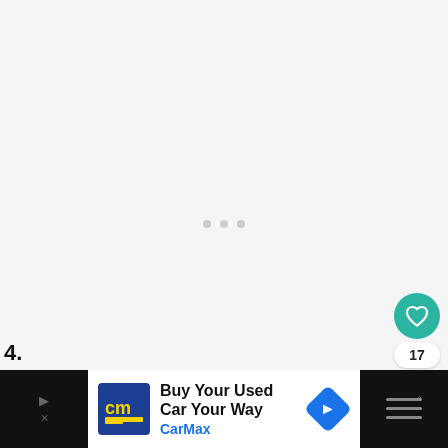[Figure (screenshot): Light grey content area with loading dots (three small circles) in the center, indicating content is loading.]
[Figure (infographic): Floating UI action buttons on right side: teal heart/like button, count badge showing 17, white share button with share icon.]
17
[Figure (infographic): What's Next promo card with thumbnail image of hot springs, label 'WHAT'S NEXT →' and title 'Top 10 Hot Springs In T...']
WHAT'S NEXT → Top 10 Hot Springs In T...
[Figure (infographic): Advertisement bar at bottom: CarMax ad 'Buy Your Used Car Your Way' with CarMax logo and blue navigation icon.]
Buy Your Used Car Your Way
CarMax